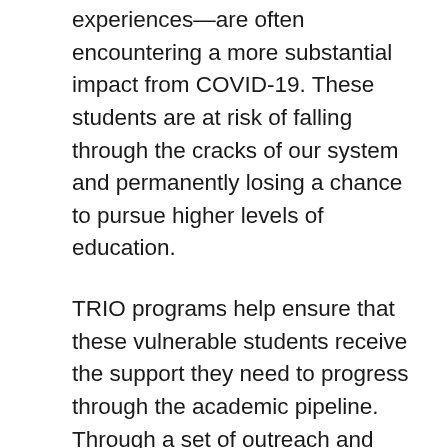experiences—are often encountering a more substantial impact from COVID-19. These students are at risk of falling through the cracks of our system and permanently losing a chance to pursue higher levels of education.
TRIO programs help ensure that these vulnerable students receive the support they need to progress through the academic pipeline. Through a set of outreach and student services programs, TRIO works to mitigate existing disparities in access and assistance for students. Their programs not only enrich individuals academically, but they also enhance our workforce's economic prospects by empowering